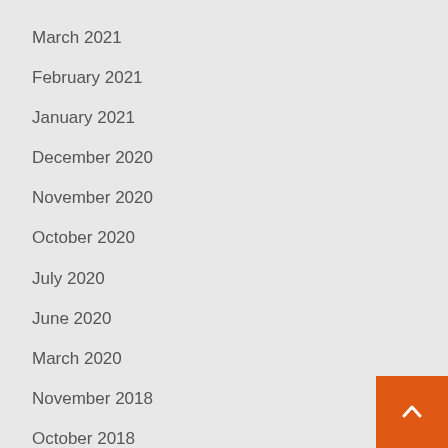March 2021
February 2021
January 2021
December 2020
November 2020
October 2020
July 2020
June 2020
March 2020
November 2018
October 2018
December 2016